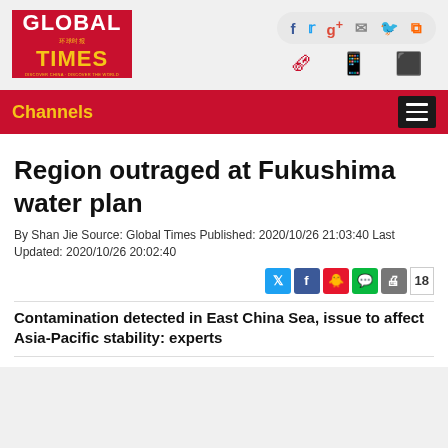[Figure (logo): Global Times logo - red background with white GLOBAL and yellow TIMES text]
[Figure (infographic): Social media icons: Facebook, Twitter, Google+, email, Weibo, RSS in a rounded pill shape, and below: newspaper, mobile phone, grid icons in red]
Channels
Region outraged at Fukushima water plan
By Shan Jie Source: Global Times Published: 2020/10/26 21:03:40 Last Updated: 2020/10/26 20:02:40
[Figure (infographic): Social share buttons: Twitter, Facebook, Weibo, WeChat, print, and count 18]
Contamination detected in East China Sea, issue to affect Asia-Pacific stability: experts